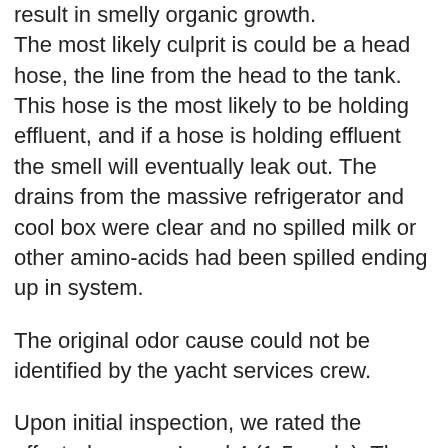result in smelly organic growth. The most likely culprit is could be a head hose, the line from the head to the tank. This hose is the most likely to be holding effluent, and if a hose is holding effluent the smell will eventually leak out. The drains from the massive refrigerator and cool box were clear and no spilled milk or other amino-acids had been spilled ending up in system.
The original odor cause could not be identified by the yacht services crew.
Upon initial inspection, we rated the affected areas a Level 4 (1-5 scale). The yacht was wet moored in a covered slip and showed no visible signs of water leaking, or toilet issues in the multiple bathrooms. The port holes were sealed and the recent